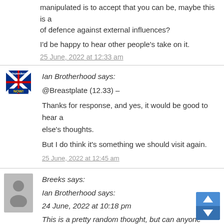manipulated is to accept that you can be, maybe this is a of defence against external influences?
I'd be happy to hear other people's take on it.
25 June, 2022 at 12:33 am
[Figure (illustration): Scottish Independence NOW! flag avatar - blue background with white diagonal cross (St Andrew's cross)]
Ian Brotherhood says: @Breastplate (12.33) – Thanks for response, and yes, it would be good to hear a else's thoughts. But I do think it's something we should visit again.
25 June, 2022 at 12:45 am
[Figure (illustration): Generic grey avatar silhouette placeholder]
Breeks says: Ian Brotherhood says: 24 June, 2022 at 10:18 pm This is a pretty random thought, but can anyone explain * United Nations is the be-all-and-end-all of all constitutional suchlike? On whose say-so?